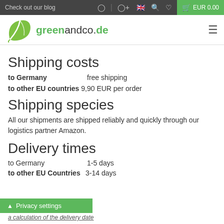Check out our blog | EUR 0.00
[Figure (logo): greenandco.de logo with green leaf]
Shipping costs
to Germany   free shipping
to other EU countries 9,90 EUR per order
Shipping species
All our shipments are shipped reliably and quickly through our logistics partner Amazon.
Delivery times
to Germany   1-5 days
to other EU Countries 3-14 days
a calculation of the delivery date